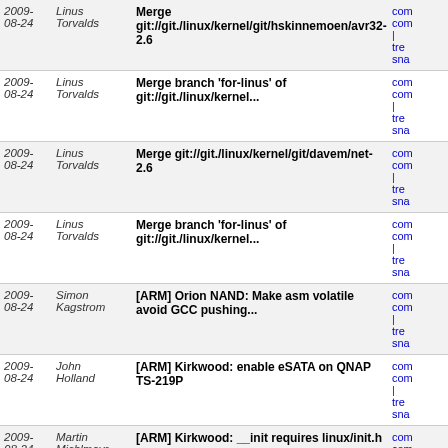| Date | Author | Commit | Links |
| --- | --- | --- | --- |
| 2009-
08-24 | Linus
Torvalds | Merge git://git./linux/kernel/git/hskinnemoen/avr32-2.6 | com
com
| tre
sna |
| 2009-
08-24 | Linus
Torvalds | Merge branch 'for-linus' of git://git./linux/kernel... | com
com
| tre
sna |
| 2009-
08-24 | Linus
Torvalds | Merge git://git./linux/kernel/git/davem/net-2.6 | com
com
| tre
sna |
| 2009-
08-24 | Linus
Torvalds | Merge branch 'for-linus' of git://git./linux/kernel... | com
com
| tre
sna |
| 2009-
08-24 | Simon
Kagstrom | [ARM] Orion NAND: Make asm volatile avoid GCC pushing... | com
com
| tre
sna |
| 2009-
08-24 | John
Holland | [ARM] Kirkwood: enable eSATA on QNAP TS-219P | com
com
| tre
sna |
| 2009-
08-24 | Martin
Michlmayr | [ARM] Kirkwood: __init requires linux/init.h | com
com
| tre
sna |
| 2009-
08-24 | Dongdong
Deng | smc91x: let smc91x work well under netpoll | com
com
| tre
sna |
| 2009-
08-24 | Marek
Vasut | pxaficp-ir: remove incorrect net_device_ops | com
com
| tre
sna |
| 2009-
08-24 | Jiri Slaby | NET: llc, zero sockaddr_llc struct | com
com
| tre |